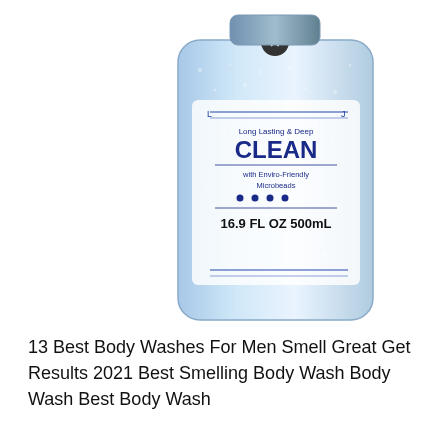[Figure (photo): Product photo of a body wash bottle with blue sparkly/glitter appearance. Label reads: Long Lasting & Deep CLEAN with Enviro-Friendly Microbeads. 16.9 FL OZ 500mL. A circular X/close button overlay appears on the top-center of the bottle.]
13 Best Body Washes For Men Smell Great Get Results 2021 Best Smelling Body Wash Body Wash Best Body Wash
[Figure (photo): Product photo showing perfume/body wash bottles on a purple swirling liquid background. A gold-capped bottle on the left, a golden/amber bottle in the center, and a dark-capped bottle on the right. A circular X/close button overlay appears in the center-bottom area.]